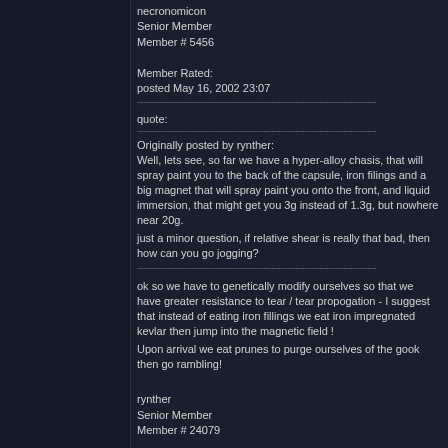necronomicon
Senior Member
Member # 5456

Member Rated:
posted May 16, 2002 23:07
quote:
Originally posted by rynther:
Well, lets see, so far we have a hyper-alloy chasis, that will spray paint you to the back of the capsule, iron filings and a big magnet that will spray paint you onto the front, and liquid immersion, that might get you 3g instead of 1.3g, but nowhere near 20g.

just a minor question, if relative shear is really that bad, then how can you go jogging?
ok so we have to genetically modify ourselves so that we have greater resistance to tear / tear propogation - I suggest that instead of eating iron fillings we eat iron impregnated kevlar then jump into the magnetic field !

Upon arrival we eat prunes to purge ourselves of the gook then go rambling!
rynther
Senior Member
Member # 24079

Member Rated:
posted May 17, 2002 00:07